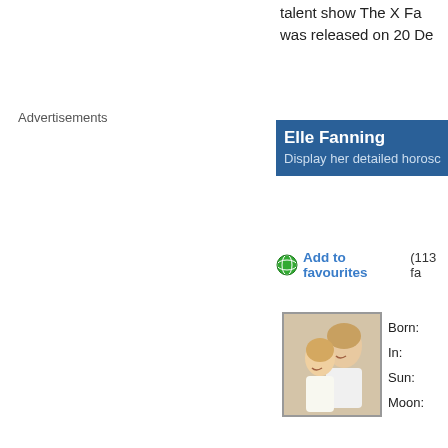talent show The X Fa... was released on 20 De...
Advertisements
Elle Fanning
Display her detailed horosc...
Add to favourites (113 fa...
[Figure (photo): Photo of Elle Fanning as a child with another girl, both smiling]
Born:
In:
Sun:
Moon:
Dominants:
Chinese Astrology:
Numerology:
Height:
Pageviews:
Biography of Elle Fanning (ex...
Elle Fanning (born A...
http://www.20minutes....
fanning-ravie-jouer-de...